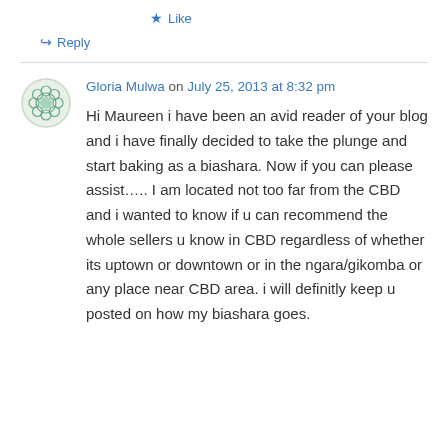★ Like
↳ Reply
Gloria Mulwa on July 25, 2013 at 8:32 pm
Hi Maureen i have been an avid reader of your blog and i have finally decided to take the plunge and start baking as a biashara. Now if you can please assist….. I am located not too far from the CBD and i wanted to know if u can recommend the whole sellers u know in CBD regardless of whether its uptown or downtown or in the ngara/gikomba or any place near CBD area. i will definitly keep u posted on how my biashara goes.